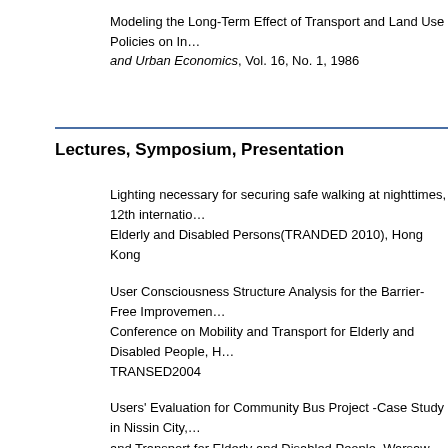Modeling the Long-Term Effect of Transport and Land Use Policies on In... and Urban Economics, Vol. 16, No. 1, 1986
Lectures, Symposium, Presentation
Lighting necessary for securing safe walking at nighttimes, 12th international ... Elderly and Disabled Persons(TRANDED 2010), Hong Kong
User Consciousness Structure Analysis for the Barrier-Free Improvement... Conference on Mobility and Transport for Elderly and Disabled People, H... TRANSED2004
Users' Evaluation for Community Bus Project -Case Study in Nissin City,... and Transport for Elderly and Disabled People, Warsaw
Travel Behavior Analysis of the Licensed and the Unlicensed by Life Cyc... Conference on Transport Research, Sydney, 1995
Dynamic Analysis on the Process of Scheduling Activities on a Non-Work... Research, Lyon, 1992
Travel-Activity Scheduling Model on a Non-Work Day, International Confe... Kyoto, 1989